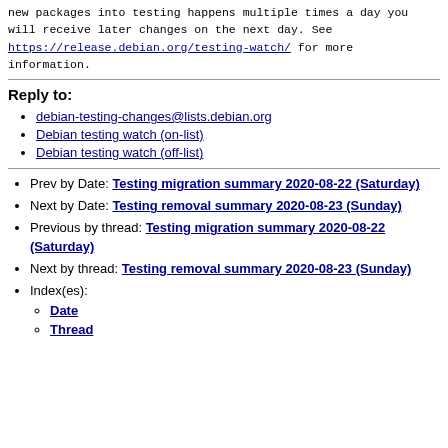new packages into testing happens multiple times a day you will receive later changes on the next day. See https://release.debian.org/testing-watch/ for more information.
Reply to:
debian-testing-changes@lists.debian.org
Debian testing watch (on-list)
Debian testing watch (off-list)
Prev by Date: Testing migration summary 2020-08-22 (Saturday)
Next by Date: Testing removal summary 2020-08-23 (Sunday)
Previous by thread: Testing migration summary 2020-08-22 (Saturday)
Next by thread: Testing removal summary 2020-08-23 (Sunday)
Index(es): Date, Thread